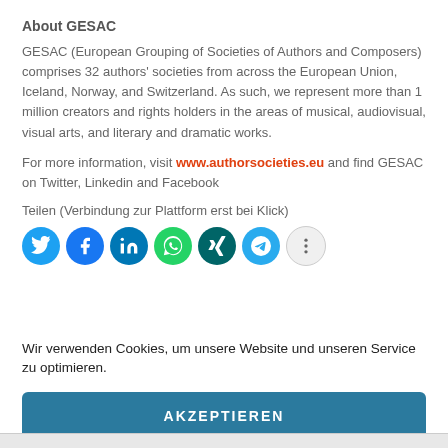About GESAC
GESAC (European Grouping of Societies of Authors and Composers) comprises 32 authors' societies from across the European Union, Iceland, Norway, and Switzerland. As such, we represent more than 1 million creators and rights holders in the areas of musical, audiovisual, visual arts, and literary and dramatic works.
For more information, visit www.authorsocieties.eu and find GESAC on Twitter, Linkedin and Facebook
Teilen (Verbindung zur Plattform erst bei Klick)
[Figure (infographic): Row of social media icon circles: Twitter (blue bird), Facebook (blue f), LinkedIn (blue in), WhatsApp (green phone), Xing (teal x), Telegram (blue paper plane), More options (grey dots)]
Wir verwenden Cookies, um unsere Website und unseren Service zu optimieren.
AKZEPTIEREN